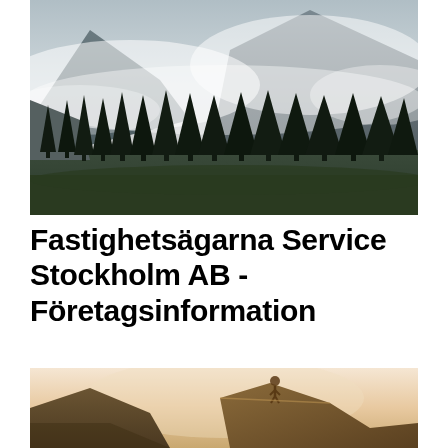[Figure (photo): Misty mountain landscape with dark conifer trees silhouetted against low clouds and fog covering mountain peaks]
Fastighetsägarna Service Stockholm AB - Företagsinformation
[Figure (photo): Rocky mountain landscape with warm golden light, a figure visible on top of a rocky formation against a hazy sky]